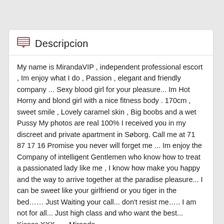Descripcion
My name is MirandaVIP , independent professional escort , Im enjoy what I do , Passion , elegant and friendly company ... Sexy blood girl for your pleasure... Im Hot Horny and blond girl with a nice fitness body . 170cm , sweet smile , Lovely caramel skin , Big boobs and a wet Pussy My photos are real 100% I received you in my discreet and private apartment in Søborg. Call me at 71 87 17 16 Promise you never will forget me ... Im enjoy the Company of intelligent Gentlemen who know how to treat a passionated lady like me , I know how make you happy and the way to arrive together at the paradise pleasure... I can be sweet like your girlfriend or you tiger in the bed…… Just Waiting your call... don't resist me….. I am not for all... Just high class and who want the best... Kisses XXX ..... Miranda